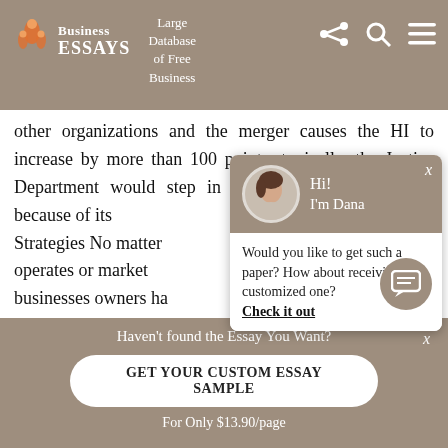Business Essays — Large Database of Free Business
other organizations and the merger causes the HI to increase by more than 100 points, typically, the Justice Department would step in and challenge the merger because of its Strategies No matter operates or market businesses owners have is to maximize their successful. In order determine hat pricing
[Figure (screenshot): Chat popup with avatar of Dana saying 'Hi! I'm Dana. Would you like to get such a paper? How about receiving a customized one? Check it out']
Haven't found the Essay You Want?
GET YOUR CUSTOM ESSAY SAMPLE
For Only $13.90/page